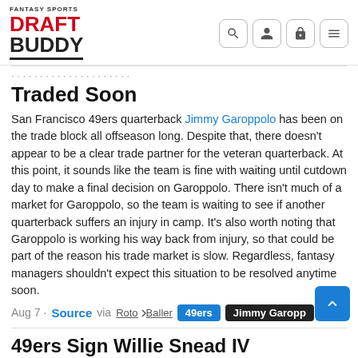Fantasy Sports Draft Buddy — navigation header with logo and icons
Traded Soon
San Francisco 49ers quarterback Jimmy Garoppolo has been on the trade block all offseason long. Despite that, there doesn't appear to be a clear trade partner for the veteran quarterback. At this point, it sounds like the team is fine with waiting until cutdown day to make a final decision on Garoppolo. There isn't much of a market for Garoppolo, so the team is waiting to see if another quarterback suffers an injury in camp. It's also worth noting that Garoppolo is working his way back from injury, so that could be part of the reason his trade market is slow. Regardless, fantasy managers shouldn't expect this situation to be resolved anytime soon.
Aug 7 · Source via RotoBaller  49ers  Jimmy Garoppolo
49ers Sign Willie Snead IV